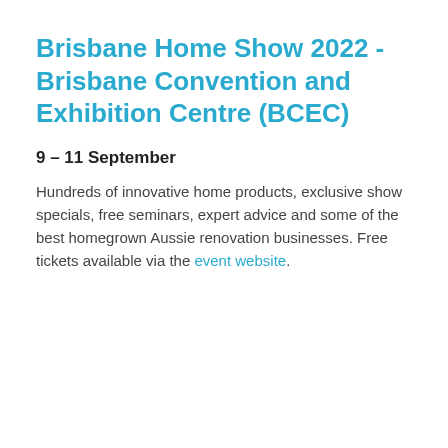Brisbane Home Show 2022 - Brisbane Convention and Exhibition Centre (BCEC)
9 – 11 September
Hundreds of innovative home products, exclusive show specials, free seminars, expert advice and some of the best homegrown Aussie renovation businesses. Free tickets available via the event website.